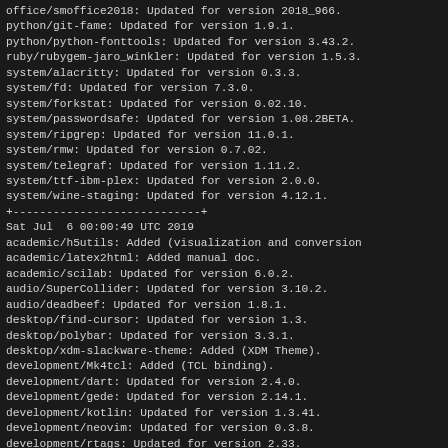office/smoffice2018: Updated for version 2018_966.
python/git-fame: Updated for version 1.9.1.
python/python-fonttools: Updated for version 3.43.2.
ruby/rubygem-jaro_winkler: Updated for version 1.5.3.
system/alacritty: Updated for version 0.3.3.
system/fd: Updated for version 7.3.0.
system/forkstat: Updated for version 0.02.10.
system/passwordsafe: Updated for version 1.08.2BETA.
system/ripgrep: Updated for version 11.0.1.
system/rmw: Updated for version 0.7.02.
system/telegraf: Updated for version 1.11.2.
system/ttf-ibm-plex: Updated for version 2.0.0.
system/wine-staging: Updated for version 4.12.1.
+----------------------------+
Sat Jul  6 00:00:49 UTC 2019
academic/h5utils: Added (visualization and conversion
academic/latex2html: Added manual doc.
academic/scilab: Updated for version 6.0.2.
audio/SuperCollider: Updated for version 3.10.2.
audio/deadbeef: Updated for version 1.8.1.
desktop/find-cursor: Updated for version 1.3.
desktop/polybar: Updated for version 3.3.1.
desktop/xdm-slackware-theme: Added (XDM Theme).
development/Mk4tcl: Added (TCL binding).
development/dart: Updated for version 2.4.0.
development/gede: Updated for version 2.14.1.
development/kotlin: Updated for version 1.3.41.
development/neovim: Updated for version 0.3.8.
development/rtags: Updated for version 2.33.
development/vscode-bin: Updated for version 1.36.0